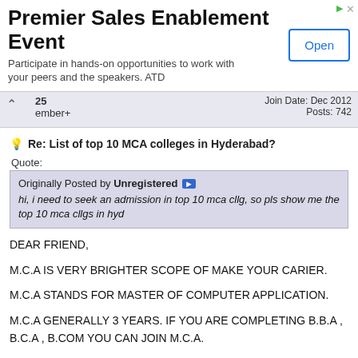[Figure (other): Advertisement banner: 'Premier Sales Enablement Event - Participate in hands-on opportunities to work with your peers and the speakers. ATD' with an Open button]
25
member+
Join Date: Dec 2012
Posts: 742
Re: List of top 10 MCA colleges in Hyderabad?
Quote:
Originally Posted by Unregistered
hi, i need to seek an admission in top 10 mca cllg, so pls show me the top 10 mca cllgs in hyd
DEAR FRIEND,

M.C.A IS VERY BRIGHTER SCOPE OF MAKE YOUR CARIER.

M.C.A STANDS FOR MASTER OF COMPUTER APPLICATION.

M.C.A GENERALLY 3 YEARS. IF YOU ARE COMPLETING B.B.A , B.C.A , B.COM YOU CAN JOIN M.C.A.

M.C.A IS BASED ON COMPUTER , SOFTWARE AND HARDWARE BOTH.

I HAVE GIVEN SOME COLLEGES NAMES OF HYDERABAD